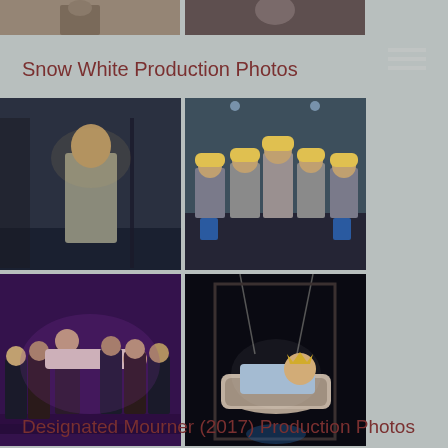[Figure (photo): Two cropped production photos at the top of the page, partially visible]
Snow White Production Photos
[Figure (photo): Grid of four Snow White production photos: top-left shows a man in grey overalls on a dark stage; top-right shows a group of performers in grey jumpsuits and yellow hard hats on a stage with blue backdrop; bottom-left shows a group of men in suits under purple lighting; bottom-right shows a person in a bathtub suspended on stage]
Designated Mourner (2017) Production Photos